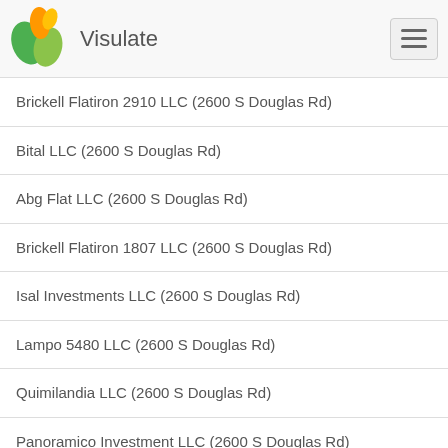Visulate
Brickell Flatiron 2910 LLC (2600 S Douglas Rd)
Bital LLC (2600 S Douglas Rd)
Abg Flat LLC (2600 S Douglas Rd)
Brickell Flatiron 1807 LLC (2600 S Douglas Rd)
Isal Investments LLC (2600 S Douglas Rd)
Lampo 5480 LLC (2600 S Douglas Rd)
Quimilandia LLC (2600 S Douglas Rd)
Panoramico Investment LLC (2600 S Douglas Rd)
Dj Strategies LLC (2600 S Douglas Rd)
Sadowntown LLC (2600 S Douglas Rd)